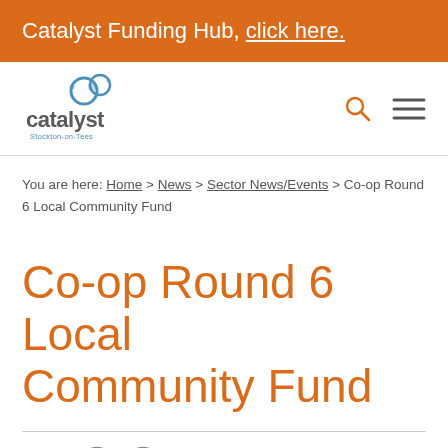Catalyst Funding Hub, click here.
[Figure (logo): Catalyst Stockton-on-Tees logo with two circular bubble shapes in blue/teal above the text 'catalyst' in grey and 'Stockton-on-Tees' in smaller text]
You are here: Home > News > Sector News/Events > Co-op Round 6 Local Community Fund
Co-op Round 6 Local Community Fund
Share: